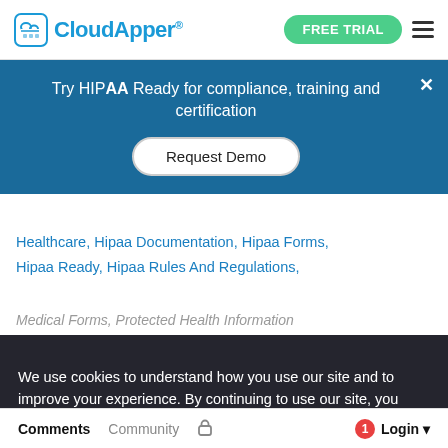CloudApper® | FREE TRIAL
Try HIPAA Ready for compliance, training and certification
Request Demo
Healthcare, Hipaa Documentation, Hipaa Forms, Hipaa Ready, Hipaa Rules And Regulations,
Medical Forms, Protected Health Information
We use cookies to understand how you use our site and to improve your experience. By continuing to use our site, you accept our use of cookies as described in our revised Privacy Policy.
ACCEPT | Next
Comments  Community  🔒  1  Login